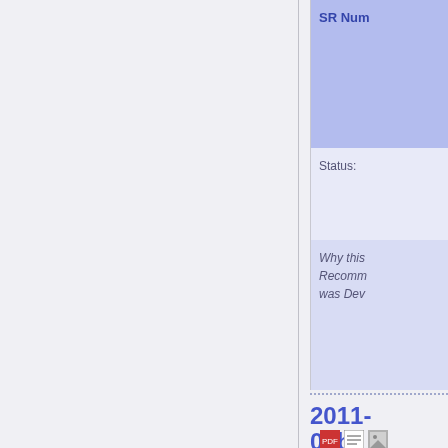| SR Num | Status: | Why this Recomm was Dev |
| --- | --- | --- |
2011-01b
[Figure (other): PDF, document, and image icons]